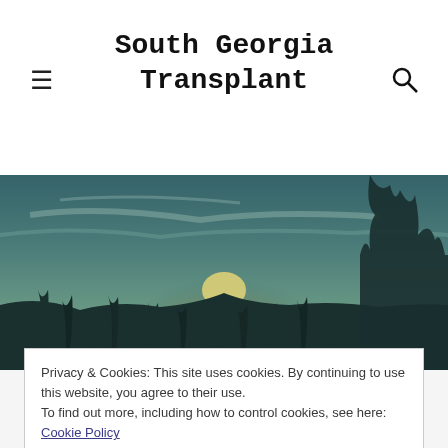South Georgia Transplant
[Figure (photo): Landscape photo of a field at sunset with tall grass and plants in the foreground, golden sun on the horizon, blue-teal tinted sky with clouds, silhouetted trees on the right.]
About
Privacy & Cookies: This site uses cookies. By continuing to use this website, you agree to their use.
To find out more, including how to control cookies, see here: Cookie Policy